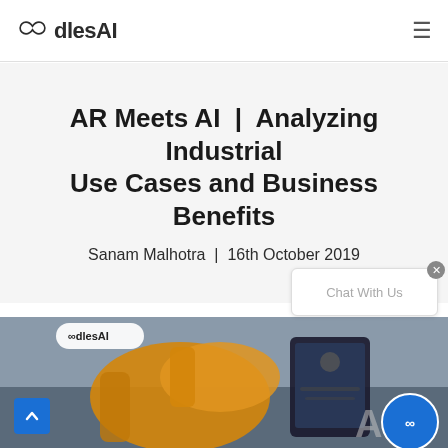OodlesAI
AR Meets AI | Analyzing Industrial Use Cases and Business Benefits
Sanam Malhotra | 16th October 2019
[Figure (photo): Article hero image showing an industrial robotic arm (yellow/orange) with an AR tablet interface overlay, OodlesAI logo in top-left corner, and Oodles circular logo badge in bottom-right corner. Text 'AR' visible in large letters at the right side.]